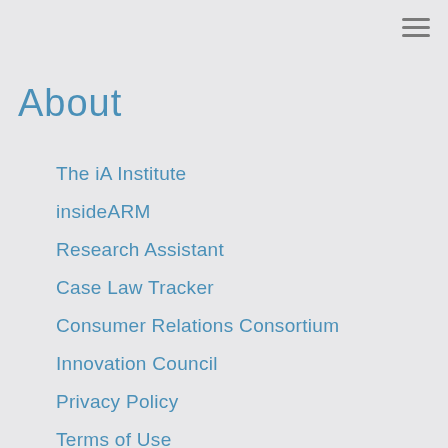About
The iA Institute
insideARM
Research Assistant
Case Law Tracker
Consumer Relations Consortium
Innovation Council
Privacy Policy
Terms of Use
Contact Us
Marketing Opportunities
Publish Your Press Release
Promote a Job Offering